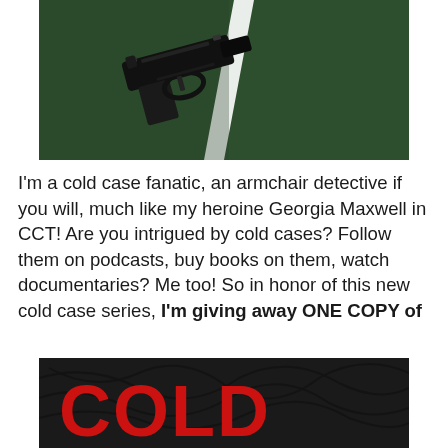[Figure (photo): A handgun lying on green grass with a white painted line running diagonally through the center of the image.]
I'm a cold case fanatic, an armchair detective if you will, much like my heroine Georgia Maxwell in CCT! Are you intrigued by cold cases? Follow them on podcasts, buy books on them, watch documentaries? Me too! So in honor of this new cold case series, I'm giving away ONE COPY of
[Figure (photo): Book cover partially visible showing the word COLD in large red letters over a dark background.]